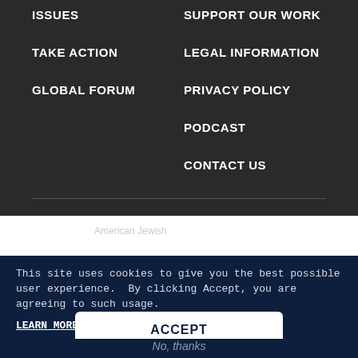ISSUES
TAKE ACTION
GLOBAL FORUM
SUPPORT OUR WORK
LEGAL INFORMATION
PRIVACY POLICY
PODCAST
CONTACT US
[Figure (logo): AJC American Jewish Congress logo in white on dark background]
This site uses cookies to give you the best possible user experience.  By clicking Accept, you are agreeing to such usage.
LEARN MORE HERE
ACCEPT
No, thanks